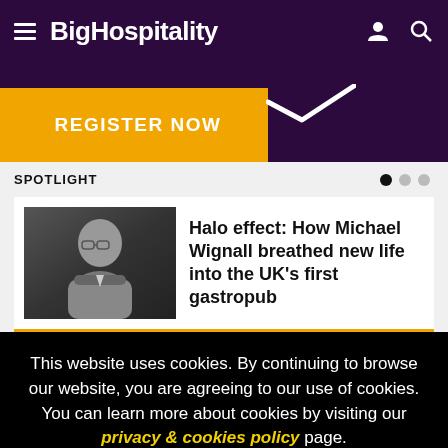BigHospitality
[Figure (screenshot): REGISTER NOW banner with orange and dark purple background and a checkmark]
SPOTLIGHT
[Figure (photo): Black and white photo of Michael Wignall]
Halo effect: How Michael Wignall breathed new life into the UK's first gastropub
This website uses cookies. By continuing to browse our website, you are agreeing to our use of cookies. You can learn more about cookies by visiting our privacy & cookies policy page.